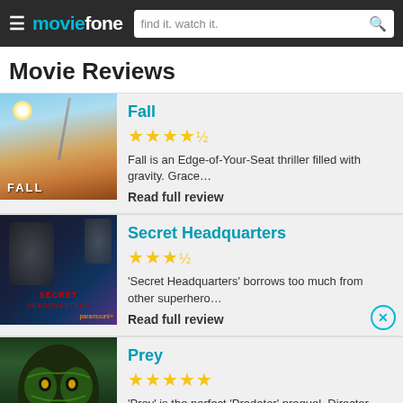moviefone — find it. watch it.
Movie Reviews
Fall — ★★★★½ — Fall is an Edge-of-Your-Seat thriller filled with gravity. Grace... — Read full review
Secret Headquarters — ★★★½ — 'Secret Headquarters' borrows too much from other superhero... — Read full review
Prey — ★★★★★ — 'Prey' is the perfect 'Predator' prequel. Director